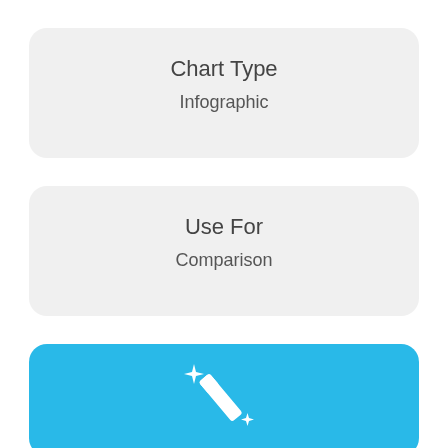Chart Type

Infographic
Use For

Comparison
[Figure (infographic): Blue card with a white magic wand / sparkle icon]